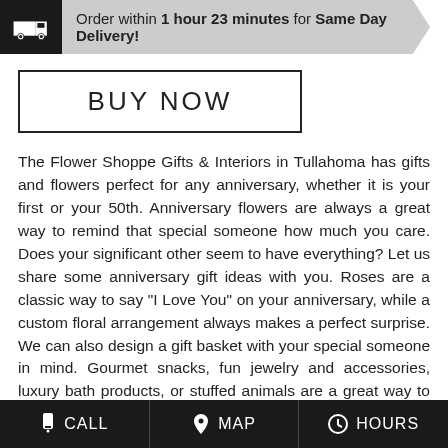Order within 1 hour 23 minutes for Same Day Delivery!
BUY NOW
The Flower Shoppe Gifts & Interiors in Tullahoma has gifts and flowers perfect for any anniversary, whether it is your first or your 50th. Anniversary flowers are always a great way to remind that special someone how much you care. Does your significant other seem to have everything? Let us share some anniversary gift ideas with you. Roses are a classic way to say "I Love You" on your anniversary, while a custom floral arrangement always makes a perfect surprise. We can also design a gift basket with your special someone in mind. Gourmet snacks, fun jewelry and accessories, luxury bath products, or stuffed animals are a great way to show your affection. Top off your unique anniversary gift with a balloon bouquet that is sure to add a smile. Browse our sample selection of floral arrangements specially designed with your anniversary in mind. Whether you want a more traditional gift this year or one
CALL  MAP  HOURS